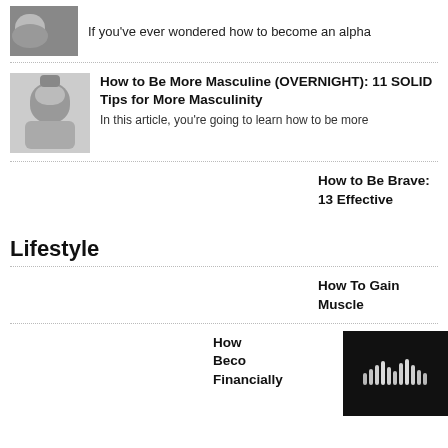If you've ever wondered how to become an alpha
[Figure (photo): Small thumbnail image of a person, top of page]
[Figure (photo): Small thumbnail image of a warrior/statue figure]
How to Be More Masculine (OVERNIGHT): 11 SOLID Tips for More Masculinity
In this article, you're going to learn how to be more
How to Be Brave: 13 Effective
Lifestyle
How To Gain Muscle
How Beco Financially
[Figure (logo): SoundCloud logo icon, black background, bottom right corner]